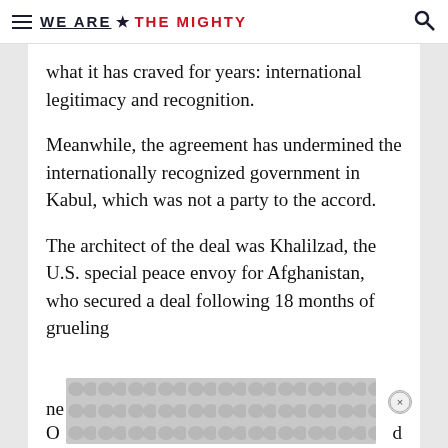WE ARE ★ THE MIGHTY
what it has craved for years: international legitimacy and recognition.
Meanwhile, the agreement has undermined the internationally recognized government in Kabul, which was not a party to the accord.
The architect of the deal was Khalilzad, the U.S. special peace envoy for Afghanistan, who secured a deal following 18 months of grueling
[Figure (other): Advertisement banner with circular dot pattern overlay and close button]